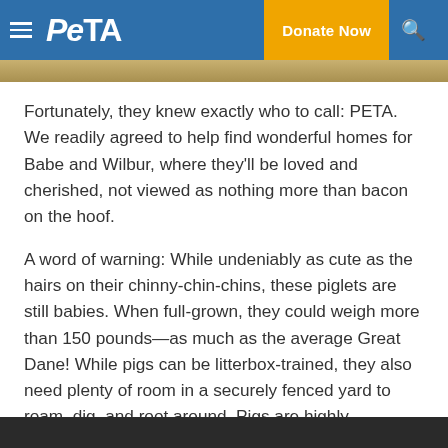PETA — Donate Now
[Figure (photo): Top strip of an outdoor/nature image]
Fortunately, they knew exactly who to call: PETA. We readily agreed to help find wonderful homes for Babe and Wilbur, where they'll be loved and cherished, not viewed as nothing more than bacon on the hoof.
A word of warning: While undeniably as cute as the hairs on their chinny-chin-chins, these piglets are still babies. When full-grown, they could weigh more than 150 pounds—as much as the average Great Dane! While pigs can be litterbox-trained, they also need plenty of room in a securely fenced yard to roam, dig, and root around. Pigs are highly intelligent, so they get bored easily and require lots of mental stimulation. They also crave companionship, both with humans and other pigs.
[Figure (photo): Bottom strip of an animal/pig image]